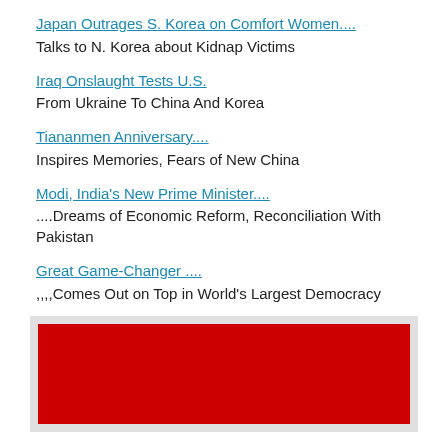Japan Outrages S. Korea on Comfort Women....
Talks to N. Korea about Kidnap Victims
Iraq Onslaught Tests U.S.
From Ukraine To China And Korea
Tiananmen Anniversary....
Inspires Memories, Fears of New China
Modi, India's New Prime Minister....
....Dreams of Economic Reform, Reconciliation With Pakistan
Great Game-Changer ....
,,,,Comes Out on Top in World's Largest Democracy
[Figure (other): Red rectangle image/advertisement block]